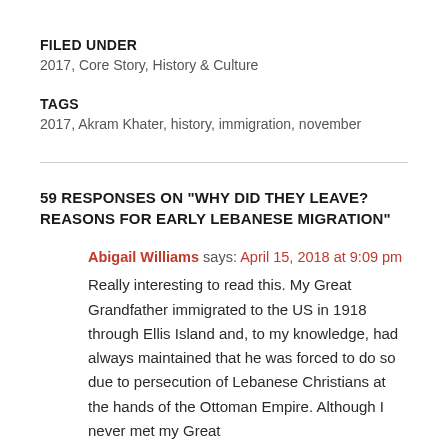FILED UNDER
2017, Core Story, History & Culture
TAGS
2017, Akram Khater, history, immigration, november
59 RESPONSES ON “WHY DID THEY LEAVE? REASONS FOR EARLY LEBANESE MIGRATION”
Abigail Williams says: April 15, 2018 at 9:09 pm
Really interesting to read this. My Great Grandfather immigrated to the US in 1918 through Ellis Island and, to my knowledge, had always maintained that he was forced to do so due to persecution of Lebanese Christians at the hands of the Ottoman Empire. Although I never met my Great